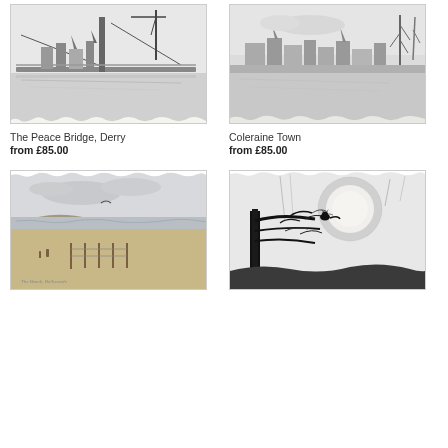[Figure (illustration): Pencil sketch of The Peace Bridge in Derry, showing a suspension bridge over a river with city skyline and crane in the background]
[Figure (illustration): Pencil sketch of Coleraine Town, showing a river view with town buildings and bare trees in the background]
The Peace Bridge, Derry
from £85.00
Coleraine Town
from £85.00
[Figure (illustration): Watercolour and pencil sketch of a beach scene with sandy shore, fence posts, and a bird in flight under a cloudy sky]
[Figure (illustration): Ink sketch of a bare tree silhouette with a cat sitting on a branch beneath a full moon with dramatic dark sky]